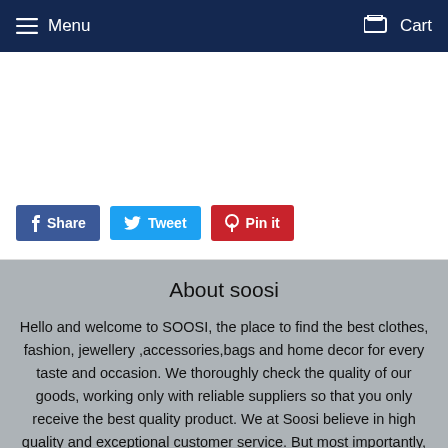Menu   Cart
[Figure (other): Social sharing buttons: Share (Facebook, blue), Tweet (Twitter, light blue), Pin it (Pinterest, red)]
About soosi
Hello and welcome to SOOSI, the place to find the best clothes, fashion, jewellery ,accessories,bags and home decor for every taste and occasion. We thoroughly check the quality of our goods, working only with reliable suppliers so that you only receive the best quality product. We at Soosi believe in high quality and exceptional customer service. But most importantly, we believe shopping is a right, not a